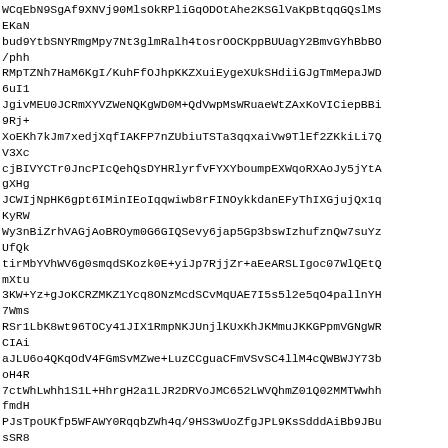WCqEbN9SgAf9XNVj90MlsOkRPliGqODOtAhe2KSGlVaKpBtqqGQslMs
EKaN
bud9YtbSNYRmgMpy7Nt3glmRalh4tosrOOCKppBUUagY2BmvGYhBbBO
/phh
RMpTZNh7HaM6KgI/KuhFfOJhpKKZXuiEygeXUkSHdiiGJgTmMepaJWD
6uI1
JgivMEU0JCRmXYVZWeNQKgWD0M+QdVwpMsWRuaeWtZAxKoVICiepBBi
9Rj+
XoEKh7kJm7xedjXqfIAKFP7nZUbiuTSTa3qqxaiVw9TlEf2ZKkiLi7Q
V3Xc
cjBIVYCTr0JncPIcQehQsDYHRlyrfvFYXYboumpEXWqoRXAoJy5jYtA
gXHg
JCWIjNpHK6gpt6IMinIEoIqqwiwb8rFINOykkdanEFyThIXGjujQx1q
KyRW
Wy3nBiZrhVAGjAoBROym0G6GIQSevy6jap5Gp3bswIzhufznQw7suYz
UfQk
tirMbYVhWV6g0smqdSKozk0E+yiJp7RjjZr+aEeARSLIgoc07WlQEtQ
mXtu
3KW+Yz+gJoKCRZMKZ1Ycq8ONzMcdSCvMqUAE7I5s5l2e5qO4pallnYH
7Wms
RSr1LbK8wt96TOCy41JIX1RmpNKJUnjlKUxKhJKMmuJKKGPpmVGNgWR
CIAi
aJLU6o4QKqOdV4FGmSvMZwe+LuzCCguaCFmVSvSC4llM4cQWBWJY73b
oH4R
7ctWhLwhh1S1L+HhrgH2a1LJR2DRVoJMC652LWVQhmZ01Q02MMTWwhh
fmdH
PJsTpoUKfp5WFAWY0RqqbZWh4q/9HS3wUoZfgJPL9KsSdddAiBb9JBu
sSR8
VOxx9MqaMdWhcuEcOc62bvCWaNJzlK+YKcLIuWuFBGiJIgagVgPemhV
IkcY
+88+KWTRHSiKbwwba0MAT0LBW0LS7HZE3K0YbEH0AiiS0NiB4CW+0+